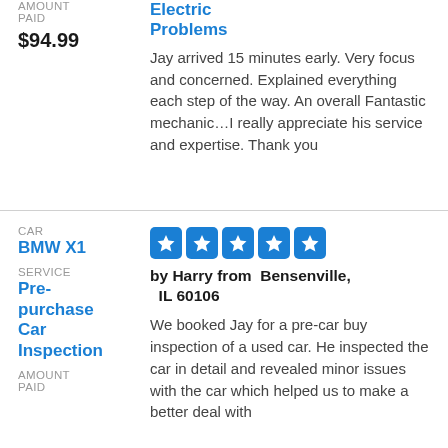Electric Problems
AMOUNT PAID
$94.99
Jay arrived 15 minutes early. Very focus and concerned. Explained everything each step of the way. An overall Fantastic mechanic…I really appreciate his service and expertise. Thank you
CAR
BMW X1
SERVICE
Pre-purchase Car Inspection
AMOUNT PAID
[Figure (infographic): Five blue rounded square star rating icons in a row]
by Harry from Bensenville, IL 60106
We booked Jay for a pre-car buy inspection of a used car. He inspected the car in detail and revealed minor issues with the car which helped us to make a better deal with